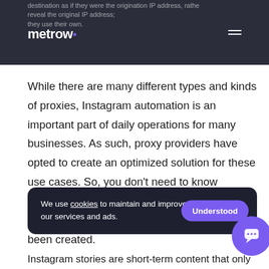destination as if they were the origination IP address, rather reveal the original IP address; they use their own.
While there are many different types and kinds of proxies, Instagram automation is an important part of daily operations for many businesses. As such, proxy providers have opted to create an optimized solution for these use cases. So, you don’t need to know everything about these solutions to pick the right one as the perfect option has already been created.
We use cookies to maintain and improve our services and ads.
Instagram stories are short-term content that only